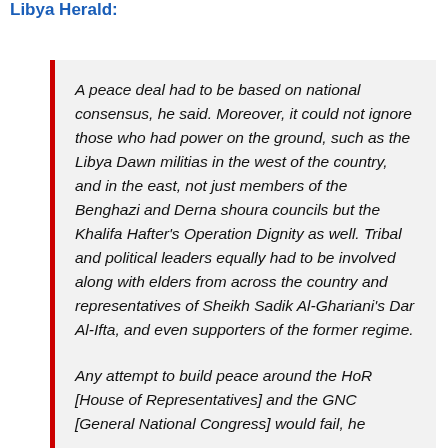Libya Herald:
A peace deal had to be based on national consensus, he said. Moreover, it could not ignore those who had power on the ground, such as the Libya Dawn militias in the west of the country, and in the east, not just members of the Benghazi and Derna shoura councils but the Khalifa Hafter's Operation Dignity as well. Tribal and political leaders equally had to be involved along with elders from across the country and representatives of Sheikh Sadik Al-Ghariani's Dar Al-Ifta, and even supporters of the former regime.
Any attempt to build peace around the HoR [House of Representatives] and the GNC [General National Congress] would fail, he